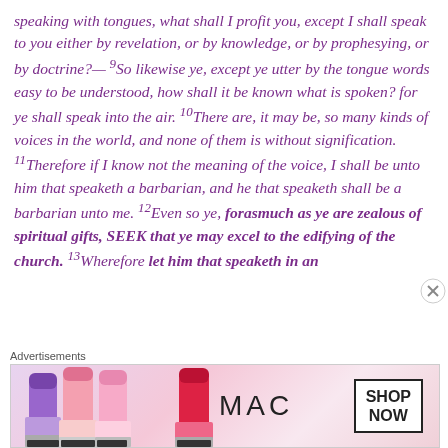speaking with tongues, what shall I profit you, except I shall speak to you either by revelation, or by knowledge, or by prophesying, or by doctrine?— 9So likewise ye, except ye utter by the tongue words easy to be understood, how shall it be known what is spoken? for ye shall speak into the air. 10There are, it may be, so many kinds of voices in the world, and none of them is without signification. 11Therefore if I know not the meaning of the voice, I shall be unto him that speaketh a barbarian, and he that speaketh shall be a barbarian unto me. 12Even so ye, forasmuch as ye are zealous of spiritual gifts, SEEK that ye may excel to the edifying of the church. 13Wherefore let him that speaketh in an
Advertisements
[Figure (other): MAC Cosmetics advertisement banner showing lipsticks in purple, pink, and red colors with MAC logo and SHOP NOW button]